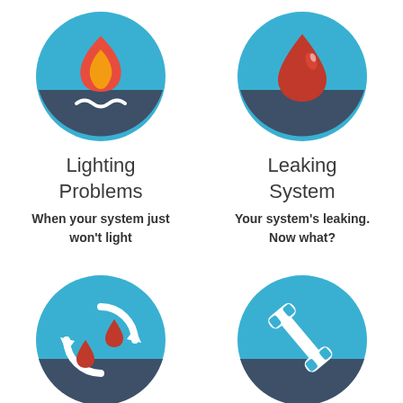[Figure (illustration): Blue circle icon with flame (red/orange fire) and white wavy line below, representing Lighting Problems]
[Figure (illustration): Blue circle icon with red water drop and dark lower half, representing Leaking System]
Lighting Problems
Leaking System
When your system just won't light
Your system's leaking. Now what?
[Figure (illustration): Blue circle icon with two red water drops and circular arrows, representing water recycling or circulation issue]
[Figure (illustration): Blue circle icon with white wrench/tool, representing maintenance or repair]